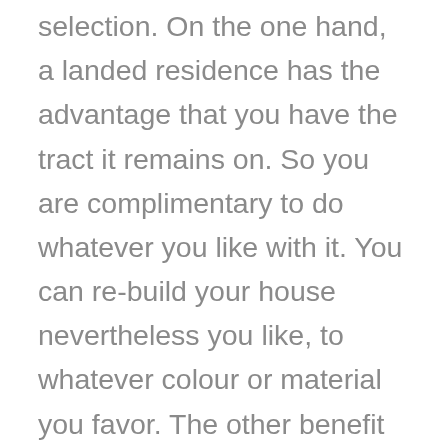selection. On the one hand, a landed residence has the advantage that you have the tract it remains on. So you are complimentary to do whatever you like with it. You can re-build your house nevertheless you like, to whatever colour or material you favor. The other benefit of collection homes, is that you do not have the burden of preserving your home exterior or grounds yourself. That seems to be the most significant drawback dealt with by landed home owners, especially those who lead busy lives.